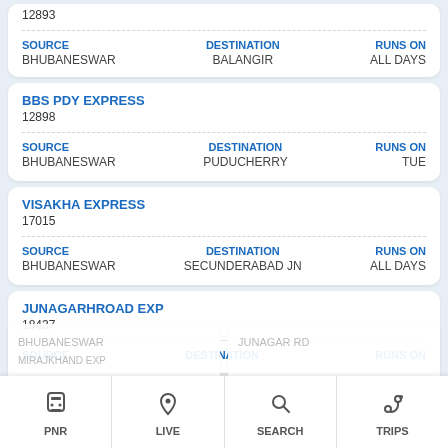12893
| SOURCE | DESTINATION | RUNS ON |
| --- | --- | --- |
| BHUBANESWAR | BALANGIR | ALL DAYS |
BBS PDY EXPRESS
12898
| SOURCE | DESTINATION | RUNS ON |
| --- | --- | --- |
| BHUBANESWAR | PUDUCHERRY | TUE |
VISAKHA EXPRESS
17015
| SOURCE | DESTINATION | RUNS ON |
| --- | --- | --- |
| BHUBANESWAR | SECUNDERABAD JN | ALL DAYS |
JUNAGARHROAD EXP
18437
| SOURCE | DESTINATION | RUNS ON |
| --- | --- | --- |
| BHUBANESWAR | JUNAGAR RD | ALL DAYS |
PNR  LIVE  SEARCH  TRIPS